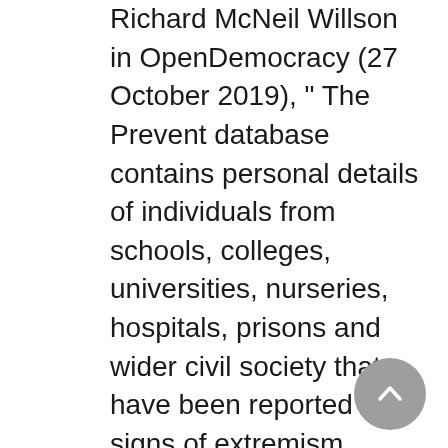Richard McNeil Willson in OpenDemocracy (27 October 2019), " The Prevent database contains personal details of individuals from schools, colleges, universities, nurseries, hospitals, prisons and wider civil society that have been reported for signs of extremism under the UK Government's 2015 'Prevent Duty' – which legally compels public servants such as teachers, doctors and police to report on those under its care. Whilst the total number of individuals on the database is unknown, 7,318 individuals were subject to referral between April 2017 and March 2018 (with 21,042 referred to Prevent between 2015